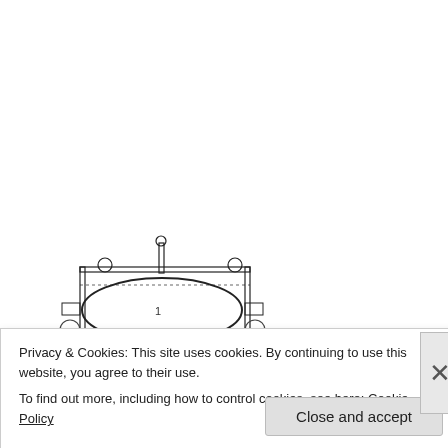[Figure (engineering-diagram): Technical patent drawing of a sewing machine, front perspective view with numbered parts. Caption reads 'Fig. 34.' below.]
Fig. 34.
[Figure (engineering-diagram): Geometric diagram showing a rectangle with a thick black diagonal line, a red dashed line forming a triangle, a red dotted V-shape, and a vertical cyan/blue line. Label 'A' in red on the right, label 'C' in red at the bottom center of the cyan line.]
Privacy & Cookies: This site uses cookies. By continuing to use this website, you agree to their use. To find out more, including how to control cookies, see here: Cookie Policy